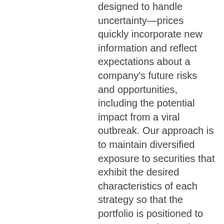designed to handle uncertainty—prices quickly incorporate new information and reflect expectations about a company's future risks and opportunities, including the potential impact from a viral outbreak. Our approach is to maintain diversified exposure to securities that exhibit the desired characteristics of each strategy so that the portfolio is positioned to capture premiums when they present themselves. We adhere to that approach in all market environments.
More than 30 years ago, we made the decision to strategically locate investment functions around the world. We have 13 offices globally and currently manage portfolios out